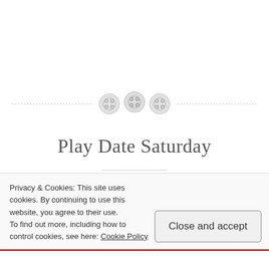[Figure (illustration): Three decorative button icons on a dashed horizontal divider line]
Play Date Saturday
October 28, 2013 · Leanne Tyler · Leave a comment
It was a busy day to day. I had several things going on but here are a few of them: Baby shower time! I've been to
Privacy & Cookies: This site uses cookies. By continuing to use this website, you agree to their use.
To find out more, including how to control cookies, see here: Cookie Policy
Close and accept